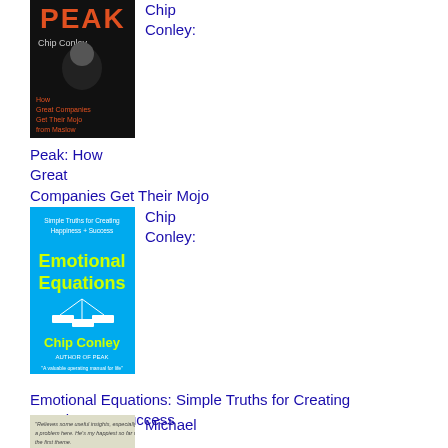[Figure (photo): Book cover for Peak: How Great Companies Get Their Mojo from Maslow by Chip Conley - dark background with author photo]
Chip Conley:
Peak: How Great Companies Get Their Mojo from Maslow
[Figure (photo): Book cover for Emotional Equations: Simple Truths for Creating Happiness + Success by Chip Conley - bright blue background with yellow/green text]
Chip Conley:
Emotional Equations: Simple Truths for Creating Happiness + Success
[Figure (photo): Book cover partially visible at bottom - light colored cover with text quote]
Michael